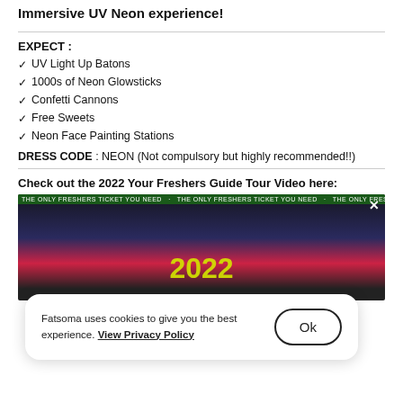Immersive UV Neon experience!
EXPECT :
UV Light Up Batons
1000s of Neon Glowsticks
Confetti Cannons
Free Sweets
Neon Face Painting Stations
DRESS CODE : NEON (Not compulsory but highly recommended!!)
Check out the 2022 Your Freshers Guide Tour Video here:
[Figure (screenshot): Video thumbnail showing '2022' text in neon yellow on dark background, with a cookie consent dialog overlay. The dialog reads: 'Fatsoma uses cookies to give you the best experience. View Privacy Policy' with an 'Ok' button.]